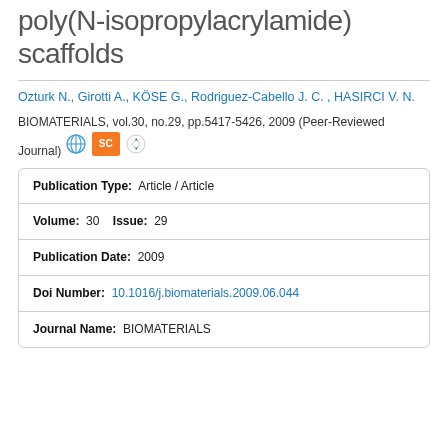poly(N-isopropylacrylamide) scaffolds
Ozturk N., Girotti A., KÖSE G., Rodriguez-Cabello J. C. , HASIRCI V. N.
BIOMATERIALS, vol.30, no.29, pp.5417-5426, 2009 (Peer-Reviewed Journal)
| Field | Value |
| --- | --- |
| Publication Type: | Article / Article |
| Volume: | 30   Issue:  29 |
| Publication Date: | 2009 |
| Doi Number: | 10.1016/j.biomaterials.2009.06.044 |
| Journal Name: | BIOMATERIALS |